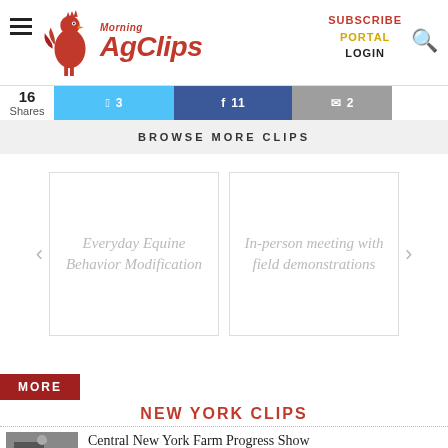Morning AgClips — SUBSCRIBE PORTAL LOGIN
16 Shares  3  11  2
BROWSE MORE CLIPS
Everyday Equine Behavior Modification
In-person meeting with field demonstrations
MORE
NEW YORK CLIPS
Central New York Farm Progress Show
SEPTEMBER 4, 2022